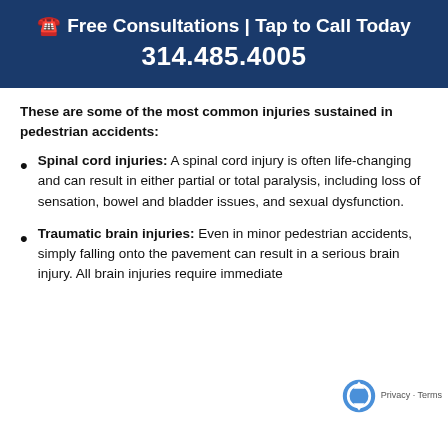📞 Free Consultations | Tap to Call Today
314.485.4005
These are some of the most common injuries sustained in pedestrian accidents:
Spinal cord injuries: A spinal cord injury is often life-changing and can result in either partial or total paralysis, including loss of sensation, bowel and bladder issues, and sexual dysfunction.
Traumatic brain injuries: Even in minor pedestrian accidents, simply falling onto the pavement can result in a serious brain injury. All brain injuries require immediate